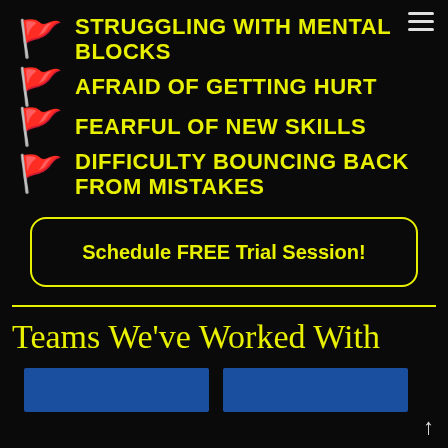STRUGGLING WITH MENTAL BLOCKS
AFRAID OF GETTING HURT
FEARFUL OF NEW SKILLS
DIFFICULTY BOUNCING BACK FROM MISTAKES
Schedule FREE Trial Session!
Teams We've Worked With